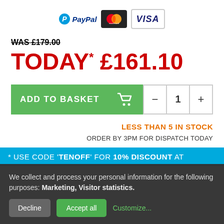[Figure (logo): Payment method icons: PayPal, Mastercard, Visa]
WAS £179.00
TODAY* £161.10
ADD TO BASKET  −  1  +
LESS THAN 5 IN STOCK
ORDER BY 3PM FOR DISPATCH TODAY
* USE CODE 'TENOFF' FOR 10% DISCOUNT AT
We collect and process your personal information for the following purposes: Marketing, Visitor statistics.
Decline  Accept all  Customize...